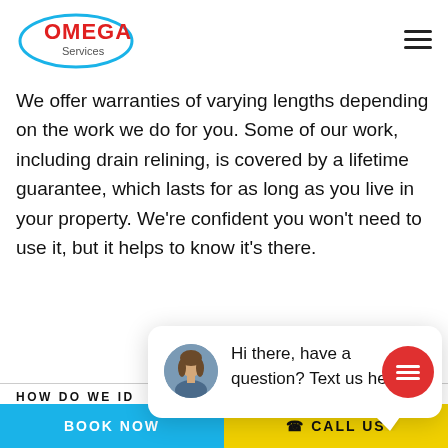[Figure (logo): Omega Services logo with red text and blue oval ellipse]
We offer warranties of varying lengths depending on the work we do for you. Some of our work, including drain relining, is covered by a lifetime guarantee, which lasts for as long as you live in your property. We're confident you won't need to use it, but it helps to know it's there.
close
[Figure (screenshot): Chat widget with avatar photo of a woman and text: Hi there, have a question? Text us here.]
HOW DO WE ID
HOW QUICKLY CAN YOU CLEAR MY BLOCKED DRAIN?
BOOK NOW
CALL US